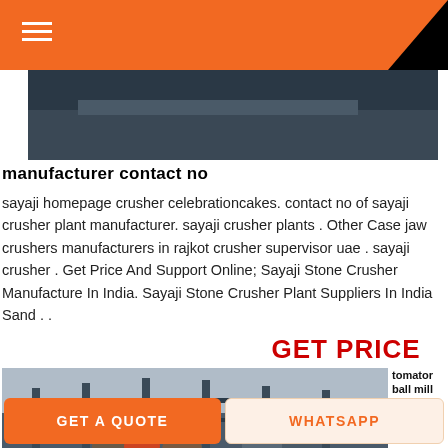[Figure (photo): Top hero image showing outdoor industrial or construction site, partially visible under orange header bar]
manufacturer contact no
sayaji homepage crusher celebrationcakes. contact no of sayaji crusher plant manufacturer. sayaji crusher plants . Other Case jaw crushers manufacturers in rajkot crusher supervisor uae . sayaji crusher . Get Price And Support Online; Sayaji Stone Crusher Manufacture In India. Sayaji Stone Crusher Plant Suppliers In India Sand . .
GET PRICE
[Figure (photo): Industrial plant/mill machinery with metal structures, columns, and heavy equipment visible]
tomator ball mill machine in china
Coal
GET A QUOTE   WHATSAPP